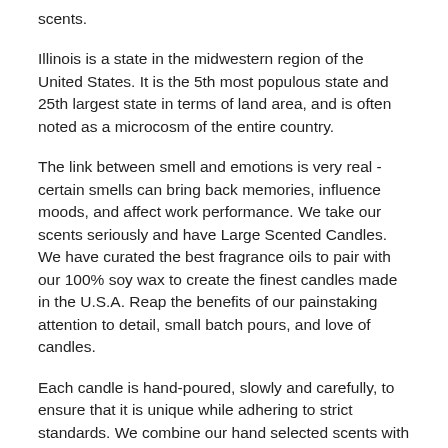scents.
Illinois is a state in the midwestern region of the United States. It is the 5th most populous state and 25th largest state in terms of land area, and is often noted as a microcosm of the entire country.
The link between smell and emotions is very real - certain smells can bring back memories, influence moods, and affect work performance. We take our scents seriously and have Large Scented Candles. We have curated the best fragrance oils to pair with our 100% soy wax to create the finest candles made in the U.S.A. Reap the benefits of our painstaking attention to detail, small batch pours, and love of candles.
Each candle is hand-poured, slowly and carefully, to ensure that it is unique while adhering to strict standards. We combine our hand selected scents with soy wax and a natural wood wick to create the ultimate olfactory, visual, and aural candle experience.
The familiar crackle of a wood fire pairs well with slow-burning